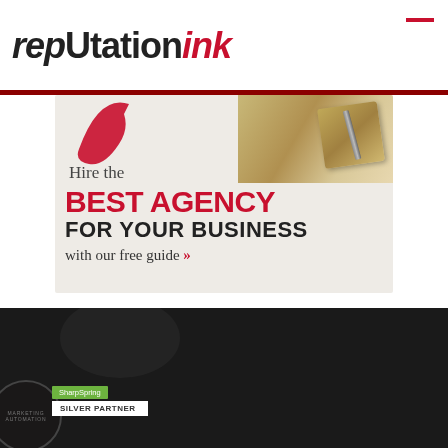[Figure (logo): ReputationInk logo — 'rep' in dark grey lowercase, 'U' capitalized, 'tation' lowercase, 'Ink' in red with accent mark above the i, all caps style mixed]
[Figure (illustration): Advertisement banner: Hire the BEST AGENCY FOR YOUR BUSINESS with our free guide with red double chevrons. Background shows a rubber stamp on wooden block and a red swoosh logo element.]
[Figure (infographic): Dark footer bar with social media links: Facebook, Twitter, LinkedIn, Instagram icons and text in light grey. Bottom left shows a SharpSpring Silver Partner badge with circular automation logo.]